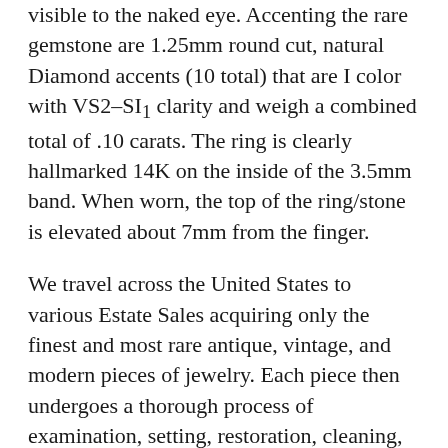visible to the naked eye. Accenting the rare gemstone are 1.25mm round cut, natural Diamond accents (10 total) that are I color with VS2–SI1 clarity and weigh a combined total of .10 carats. The ring is clearly hallmarked 14K on the inside of the 3.5mm band. When worn, the top of the ring/stone is elevated about 7mm from the finger.
We travel across the United States to various Estate Sales acquiring only the finest and most rare antique, vintage, and modern pieces of jewelry. Each piece then undergoes a thorough process of examination, setting, restoration, cleaning, and polishing by a Master GIA Graduate Gemologist. All of our items have been tested and are guaranteed to be authentic Solid Gold—not plated or filled. Item will arrive in a brand new natural redwood and leather gift box, ready to be gifted or worn today!
Paraiba Tourmaline is an exclusive neon blue to blue-